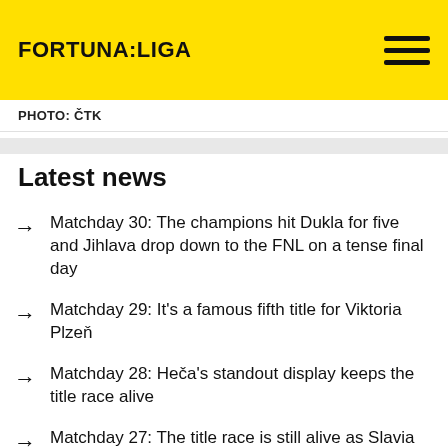FORTUNA:LIGA
PHOTO: ČTK
Latest news
Matchday 30: The champions hit Dukla for five and Jihlava drop down to the FNL on a tense final day
Matchday 29: It's a famous fifth title for Viktoria Plzeň
Matchday 28: Heča's standout display keeps the title race alive
Matchday 27: The title race is still alive as Slavia beat Plzeň at Eden
Matchday 26: It's been a pivotal week at both the top...